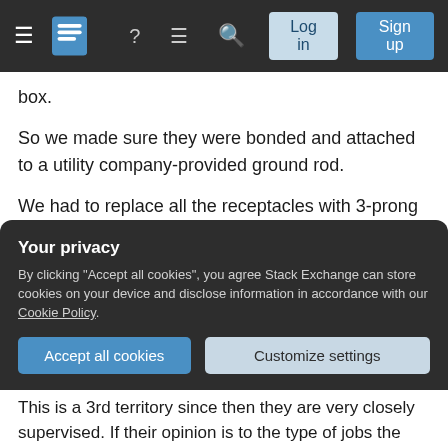[Figure (screenshot): Navigation bar with hamburger menu, Stack Exchange logo, help icon, chat icon, search icon, Log in button, and Sign up button on dark background]
box.
So we made sure they were bonded and attached to a utility company-provided ground rod.
We had to replace all the receptacles with 3-prong outlets. I stopped short of tying the ground to the neutral at the outlet, which meant that the ground leads ended up floating.
I understand PG&E's position, since they deal with the code as it exists today.
Your privacy
By clicking "Accept all cookies", you agree Stack Exchange can store cookies on your device and disclose information in accordance with our Cookie Policy.
Accept all cookies   Customize settings
This is a 3rd territory since then they are very closely supervised. If their opinion is to the type of jobs the